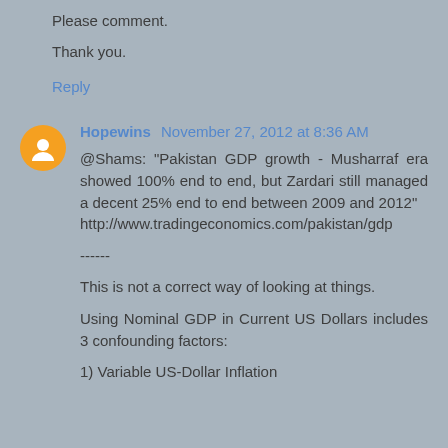Please comment.
Thank you.
Reply
Hopewins  November 27, 2012 at 8:36 AM
@Shams: "Pakistan GDP growth - Musharraf era showed 100% end to end, but Zardari still managed a decent 25% end to end between 2009 and 2012" http://www.tradingeconomics.com/pakistan/gdp
------
This is not a correct way of looking at things.
Using Nominal GDP in Current US Dollars includes 3 confounding factors:
1) Variable US-Dollar Inflation